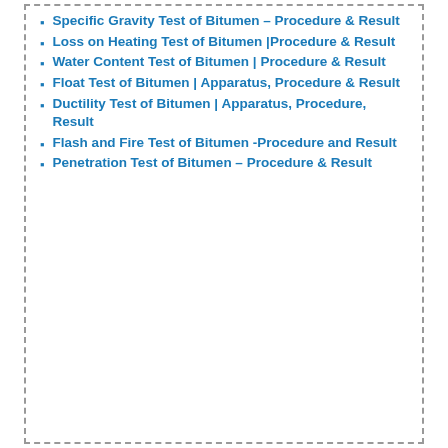Specific Gravity Test of Bitumen – Procedure & Result
Loss on Heating Test of Bitumen |Procedure & Result
Water Content Test of Bitumen | Procedure & Result
Float Test of Bitumen | Apparatus, Procedure & Result
Ductility Test of Bitumen | Apparatus, Procedure, Result
Flash and Fire Test of Bitumen -Procedure and Result
Penetration Test of Bitumen – Procedure & Result